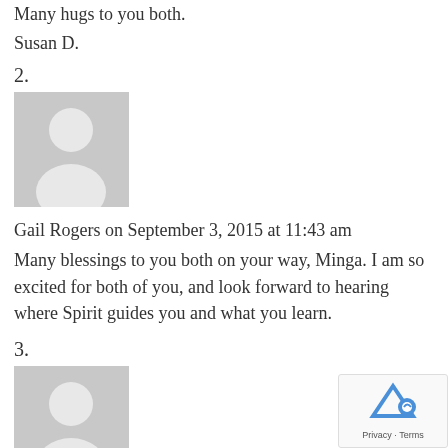Many hugs to you both.
Susan D.
2.
[Figure (illustration): Generic grey avatar placeholder image showing a silhouetted person]
Gail Rogers on September 3, 2015 at 11:43 am
Many blessings to you both on your way, Minga. I am so excited for both of you, and look forward to hearing where Spirit guides you and what you learn.
3.
[Figure (illustration): Generic grey avatar placeholder image showing a silhouetted person]
Martha Schwope on September 1, 2015 at